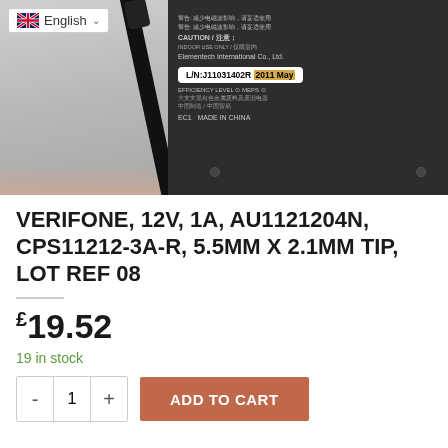[Figure (photo): Product photo of a Verifone power adapter/charger. Left side shows a black cable against a light grey background, right side shows the back of a dark/black power adapter with regulatory label text including 'CAUTION', 'Elementech International Co., Ltd.', lot number 'L/N:J11031402R 2011 May', 'EFFICIENCY LEVEL V MEPS V', 'EC1 MADE IN CHINA'. A UK English language selector dropdown is visible in the top-left corner of the image.]
VERIFONE, 12V, 1A, AU1121204N, CPS11212-3A-R, 5.5MM X 2.1MM TIP, LOT REF 08
£19.52
19 in stock